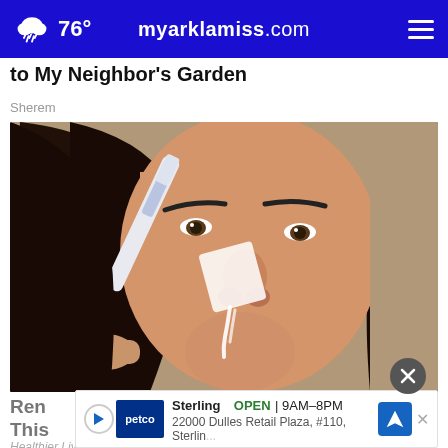76° myarklamiss.com
to My Neighbor's Garden
Sherem
[Figure (photo): Close-up photo of a dark-haired woman applying something white to her nose with a toothbrush]
Ren
This
Sterling OPEN | 9AM–8PM 22000 Dulles Retail Plaza, #110, Sterlin...
Healthier Living Tips